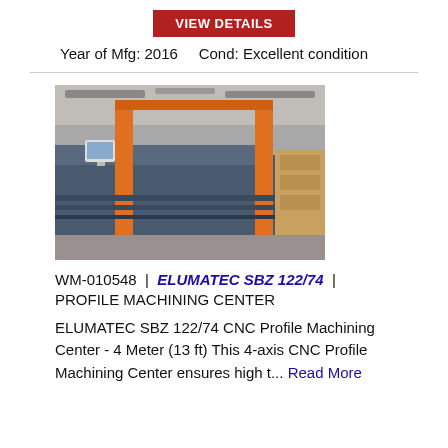VIEW DETAILS
Year of Mfg: 2016    Cond: Excellent condition
[Figure (photo): Industrial CNC profile machining center in a factory/warehouse setting. A large horizontal machine with orange vertical support columns, a computer monitor mounted on the machine, and blue-grey metal body extending along the shop floor.]
WM-010548  |  ELUMATEC SBZ 122/74  |  PROFILE MACHINING CENTER
ELUMATEC SBZ 122/74 CNC Profile Machining Center - 4 Meter (13 ft) This 4-axis CNC Profile Machining Center ensures high t... Read More